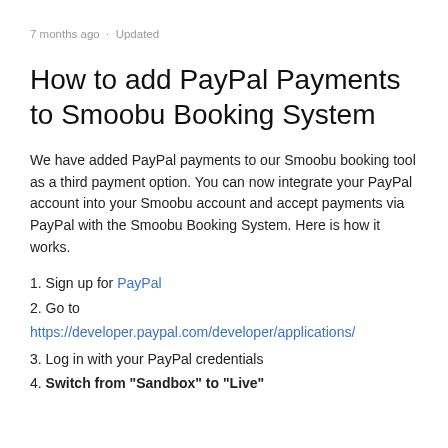7 months ago · Updated
How to add PayPal Payments to Smoobu Booking System
We have added PayPal payments to our Smoobu booking tool as a third payment option. You can now integrate your PayPal account into your Smoobu account and accept payments via PayPal with the Smoobu Booking System. Here is how it works.
1. Sign up for PayPal
2. Go to https://developer.paypal.com/developer/applications/
3. Log in with your PayPal credentials
4. Switch from "Sandbox" to "Live"